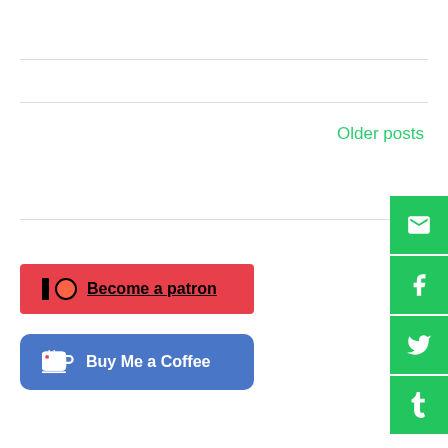Older posts
[Figure (other): Social media share buttons: email (envelope), Facebook, Twitter, Tumblr — green square icons on right side]
[Figure (other): Patreon button: red background with Patreon logo and 'Become a patron' text link]
[Figure (other): Buy Me a Coffee button: blue rounded rectangle with coffee cup icon and 'Buy Me a Coffee' text]